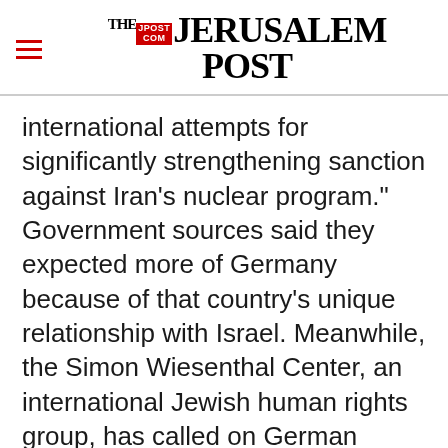THE JERUSALEM POST
international attempts for significantly strengthening sanction against Iran's nuclear program." Government sources said they expected more of Germany because of that country's unique relationship with Israel. Meanwhile, the Simon Wiesenthal Center, an international Jewish human rights group, has called on German Chancellor Angela Merkel to block the deal between German energy company Steiner (SPG Steiner-Prematechnik-Gastec
Advertisement